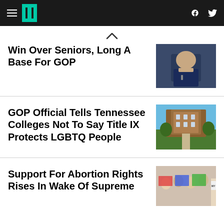HuffPost navigation header with hamburger menu, logo, Facebook and Twitter icons
Win Over Seniors, Long A Base For GOP
[Figure (photo): Photo of a man in a blue suit speaking at a microphone]
GOP Official Tells Tennessee Colleges Not To Say Title IX Protects LGBTQ People
[Figure (photo): Photo of a large brick university building with green lawn and trees under blue sky]
Support For Abortion Rights Rises In Wake Of Supreme
[Figure (photo): Photo of protesters holding signs including one reading MY BODY]